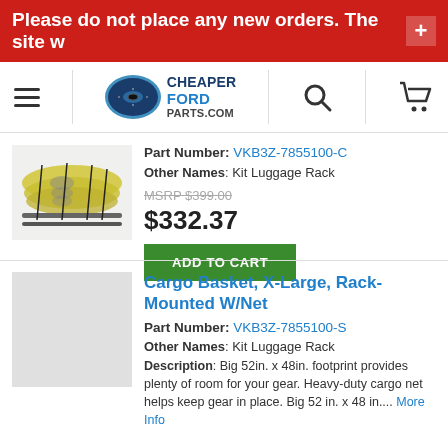Please do not place any new orders. The site w
[Figure (logo): CheaperFordParts.com logo with navigation hamburger menu, search icon, and cart icon]
[Figure (photo): Kayaks mounted on a roof rack luggage carrier]
Part Number: VKB3Z-7855100-C
Other Names: Kit Luggage Rack
MSRP $399.00
$332.37
ADD TO CART
Cargo Basket, X-Large, Rack-Mounted W/Net
[Figure (photo): Gray placeholder image for cargo basket product]
Part Number: VKB3Z-7855100-S
Other Names: Kit Luggage Rack
Description: Big 52in. x 48in. footprint provides plenty of room for your gear. Heavy-duty cargo net helps keep gear in place. Big 52 in. x 48 in.... More Info